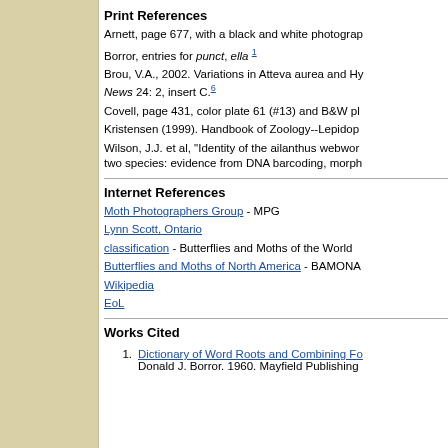Print References
Arnett, page 677, with a black and white photograp
Borror, entries for punct, ella (1)
Brou, V.A., 2002. Variations in Atteva aurea and Hy... News 24: 2, insert C. (6)
Covell, page 431, color plate 61 (#13) and B&W pl
Kristensen (1999). Handbook of Zoology--Lepidop
Wilson, J.J. et al, "Identity of the ailanthus webwor two species: evidence from DNA barcoding, morph
Internet References
Moth Photographers Group - MPG
Lynn Scott, Ontario
classification - Butterflies and Moths of the World
Butterflies and Moths of North America - BAMONA
Wikipedia
EoL
Works Cited
1. Dictionary of Word Roots and Combining Fo Donald J. Borror. 1960. Mayfield Publishing